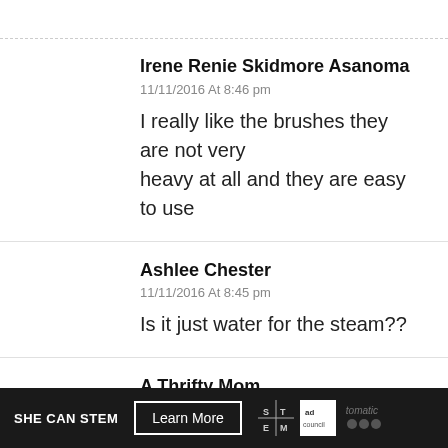Irene Renie Skidmore Asanoma
11/11/2016 At 8:46 pm
I really like the brushes they are not very heavy at all and they are easy to use
Ashlee Chester
11/11/2016 At 8:45 pm
Is it just water for the steam??
A Thrifty Mom
11/11/2016 At 8:45 pm
Get one WHILE SUPPLIES LAST with coupon code for $10 off, hurry they won't last long
SHE CAN STEM  Learn More